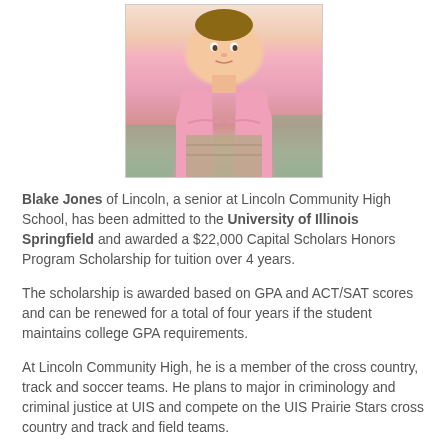[Figure (photo): Photo of Blake Jones, a young man in a pink long-sleeve shirt, arms crossed, leaning on a surface outdoors.]
Blake Jones of Lincoln, a senior at Lincoln Community High School, has been admitted to the University of Illinois Springfield and awarded a $22,000 Capital Scholars Honors Program Scholarship for tuition over 4 years.
The scholarship is awarded based on GPA and ACT/SAT scores and can be renewed for a total of four years if the student maintains college GPA requirements.
At Lincoln Community High, he is a member of the cross country, track and soccer teams. He plans to major in criminology and criminal justice at UIS and compete on the UIS Prairie Stars cross country and track and field teams.
“I decided to go to UIS because I wanted to be a part of the up and coming cross country and track and field program…